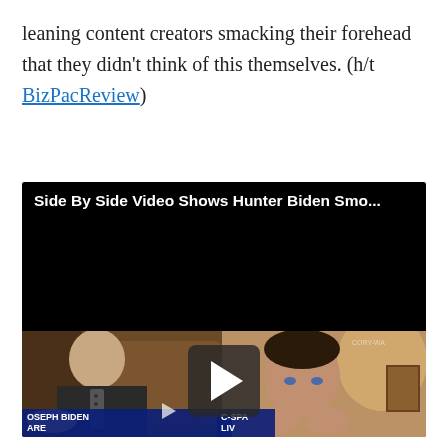leaning content creators smacking their forehead that they didn't think of this themselves. (h/t BizPacReview)
[Figure (screenshot): Embedded video thumbnail showing side-by-side footage. Left side shows a man in a dark suit speaking (labeled 'JOSEPH BIDEN' with CSPAN chyron). Right side shows another man. Title reads 'Side By Side Video Shows Hunter Biden Smo...' with a play button overlay.]